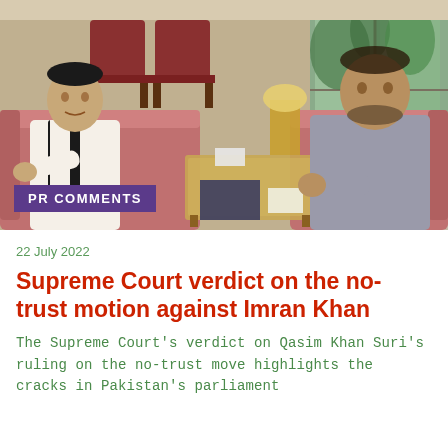[Figure (photo): Two men seated on red/pink sofas in an ornate office or meeting room. Man on left wears white shalwar kameez with black vest, gesturing while speaking. Man on right wears grey shalwar kameez, listening. Ornate wooden furniture, glass coffee table with documents, flowers and lamp visible. Green plants near window in background.]
PR COMMENTS
22 July 2022
Supreme Court verdict on the no-trust motion against Imran Khan
The Supreme Court's verdict on Qasim Khan Suri's ruling on the no-trust move highlights the cracks in Pakistan's parliament